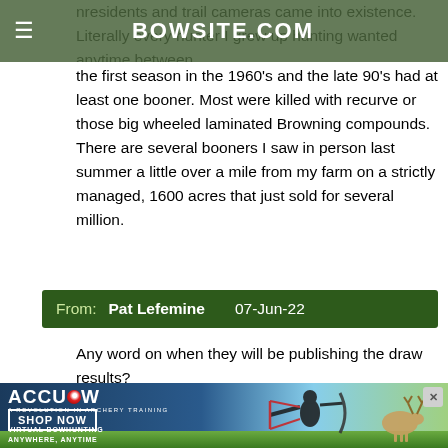BOWSITE.COM
nresidents and trail cameras came into existence. Literally every hunter I grew up hunting wanted anytime between the first season in the 1960's and the late 90's had at least one booner. Most were killed with recurve or those big wheeled laminated Browning compounds. There are several booners I saw in person last summer a little over a mile from my farm on a strictly managed, 1600 acres that just sold for several million.
From: Pat Lefemine  07-Jun-22
Any word on when they will be publishing the draw results?
[Figure (advertisement): AccuBow advertisement showing archer drawing a compound bow with a deer in background. Text reads: ACCUBOW - A Revolution in Archery Training. SHOP NOW. VIRTUAL BOWHUNTING ANYWHERE, ANYTIME.]